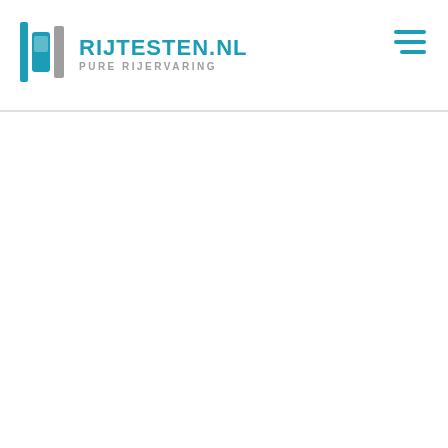[Figure (logo): Rijtesten.nl logo with teal car icon and text 'RIJTESTEN.NL' in teal and 'PURE RIJERVARING' in grey below]
[Figure (other): Hamburger menu icon with three teal horizontal lines in the top right corner]